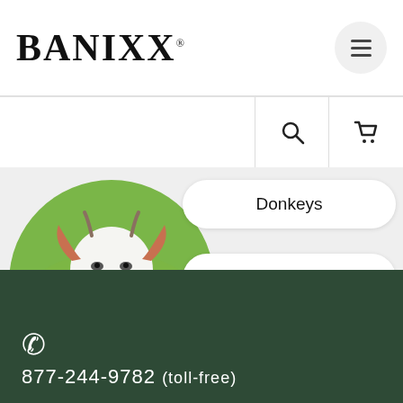[Figure (logo): BANIXX logo in bold serif font with registered trademark symbol]
[Figure (illustration): Circular cropped photo of a white goat with red-brown ears, green grass background]
Donkeys
Lizards
Alpacas
877-244-9782 (toll-free)